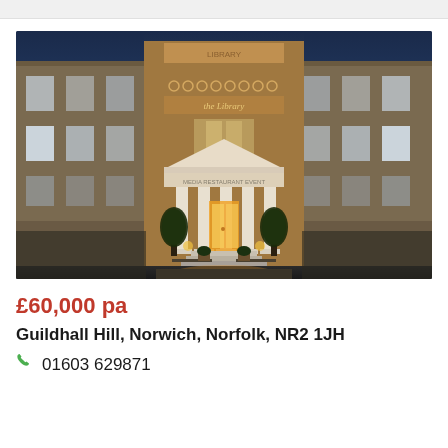[Figure (photo): Evening photograph of a Georgian-style building with classical columns and portico entrance, illuminated with warm lighting. Brick wings flank a central neoclassical entrance. The building sign reads 'the Library'. Decorative topiary sculptures flank the entrance steps.]
£60,000 pa
Guildhall Hill, Norwich, Norfolk, NR2 1JH
01603 629871